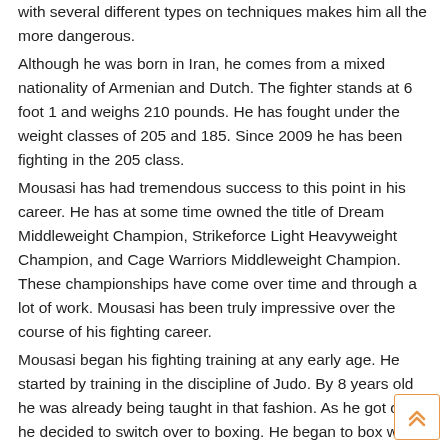with several different types on techniques makes him all the more dangerous. Although he was born in Iran, he comes from a mixed nationality of Armenian and Dutch. The fighter stands at 6 foot 1 and weighs 210 pounds. He has fought under the weight classes of 205 and 185. Since 2009 he has been fighting in the 205 class. Mousasi has had tremendous success to this point in his career. He has at some time owned the title of Dream Middleweight Champion, Strikeforce Light Heavyweight Champion, and Cage Warriors Middleweight Champion. These championships have come over time and through a lot of work. Mousasi has been truly impressive over the course of his fighting career. Mousasi began his fighting training at any early age. He started by training in the discipline of Judo. By 8 years old he was already being taught in that fashion. As he got older he decided to switch over to boxing. He began to box when he